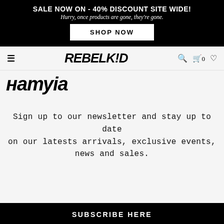SALE NOW ON - 40% DISCOUNT SITE WIDE!
Hurry, once products are gone, they're gone.
SHOP NOW
[Figure (logo): REBELKID grunge-style logo in black on light background, with hamburger menu icon on left and search, cart (0), and heart icons on right]
натуia
Sign up to our newsletter and stay up to date on our latests arrivals, exclusive events, news and sales.
SUBSCRIBE HERE